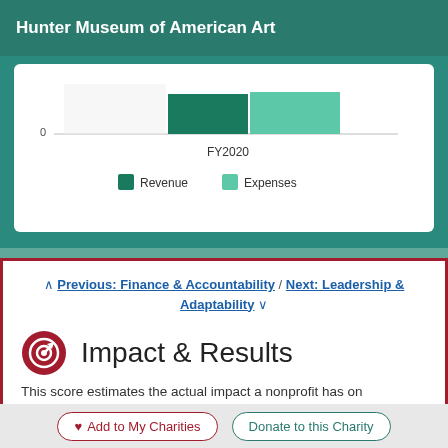Hunter Museum of American Art
[Figure (bar-chart): FY2020]
^ Previous: Finance & Accountability / Next: Leadership & Adaptability v
Impact & Results
This score estimates the actual impact a nonprofit has on